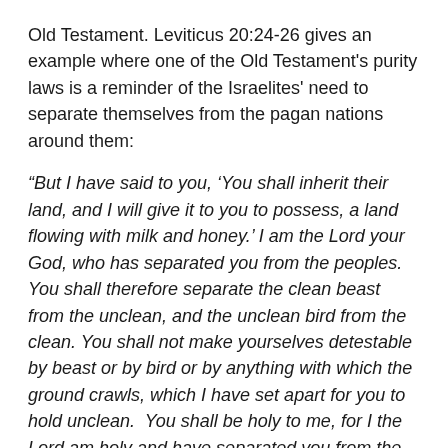Old Testament. Leviticus 20:24-26 gives an example where one of the Old Testament's purity laws is a reminder of the Israelites' need to separate themselves from the pagan nations around them:
“But I have said to you, ‘You shall inherit their land, and I will give it to you to possess, a land flowing with milk and honey.’ I am the Lord your God, who has separated you from the peoples.  You shall therefore separate the clean beast from the unclean, and the unclean bird from the clean. You shall not make yourselves detestable by beast or by bird or by anything with which the ground crawls, which I have set apart for you to hold unclean.  You shall be holy to me, for I the Lord am holy and have separated you from the peoples, that you should be mine” (Leviticus 20:24-26).